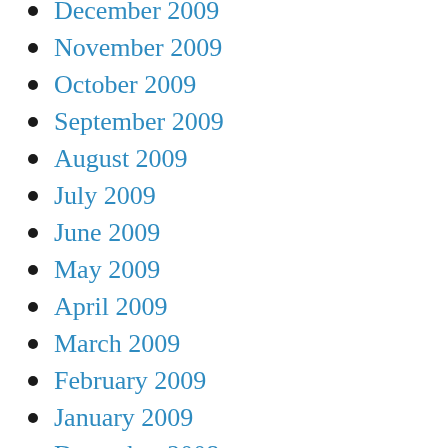December 2009
November 2009
October 2009
September 2009
August 2009
July 2009
June 2009
May 2009
April 2009
March 2009
February 2009
January 2009
December 2008
November 2008
October 2008
September 2008
August 2008